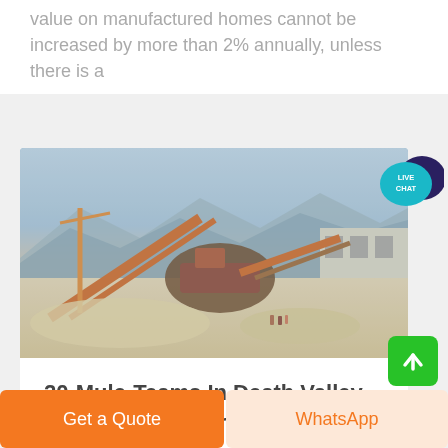value on manufactured homes cannot be increased by more than 2% annually, unless there is a
[Figure (photo): Industrial quarry or mining site with conveyor belts and heavy machinery, mountains in background, hazy sky]
20-Mule-Teams In Death Valley – Legends Of America
[Figure (other): Live Chat speech bubble icon — teal circle with LIVE CHAT text and dark blue speech bubble behind]
[Figure (other): Green scroll-to-top button with upward arrow]
Get a Quote
WhatsApp